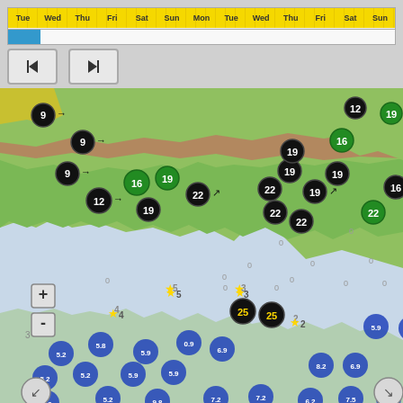[Figure (screenshot): Weather/wind forecast application screenshot showing a timeline with day labels (Tue, Wed, Thu, Fri, Sat, Sun, Mon, Tue, Wed, Thu, Fri, Sat, Sun), a progress bar, playback controls (skip to start, skip to end buttons), and a map view of a coastal region with wind speed stations (black circles with numbers and arrows), wave height indicators (blue circles with decimal numbers), tide markers (yellow stars with numbers), and zero markers. Black circles show wind speeds: 9, 9, 9, 12, 16, 19, 22, 19, 19, 22, 22, 22, 25, 25, 12, 16, 19, 16, 19, 22, 19. Green circles show: 16, 19, 22. Blue wave dots scattered over sea area with values: 3.9, 4.3, 3.9, 4.3, 5.9, 6.9, 5.2, 5.8, 5.9, 6.9, 5.2, 5.2, 5.9, 5.9, 0.9, 6.9, 8.2, 6.9, 5.2, 9.8, 7.2, 7.2, 6.2, 7.5, 7.2, 9.8, 9.8, 7.2, 7.2, 6.2, 6.2, 7.5, 7.5, 10, 9.8, 9.8, 7.2, 7.2, 6.2, 7.5, 7.5.]